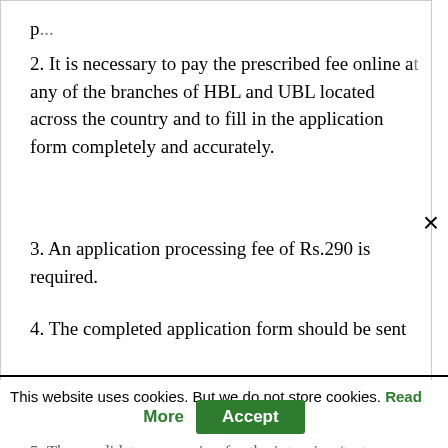p...
2. It is necessary to pay the prescribed fee online at any of the branches of HBL and UBL located across the country and to fill in the application form completely and accurately.
3. An application processing fee of Rs.290 is required.
4. The completed application form should be sent
This website uses cookies. But we do not store cookies. Read More Accept
5. The candidates appearing for the interview/test will not be eligible for TA / DA.